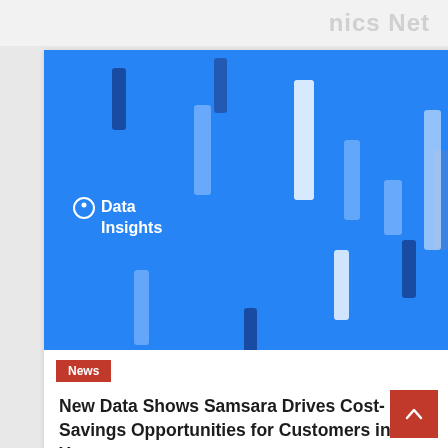nics Net
[Figure (illustration): Blue 'Data Insights' branded image with abstract white and dark vertical bar shapes on a bright blue background, with a Data Insights logo/label in the lower-left area of the image.]
News
New Data Shows Samsara Drives Cost-Savings Opportunities for Customers in First Year
12 hours ago